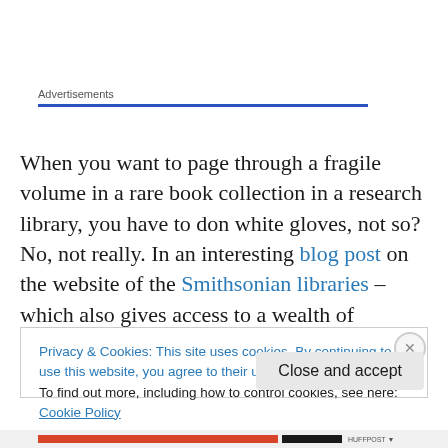Advertisements
When you want to page through a fragile volume in a rare book collection in a research library, you have to don white gloves, not so? No, not really. In an interesting blog post on the website of the Smithsonian libraries – which also gives access to a wealth of resources, Alexandra Alvis gives historical background on their use. She reveals that
Privacy & Cookies: This site uses cookies. By continuing to use this website, you agree to their use.
To find out more, including how to control cookies, see here: Cookie Policy
Close and accept